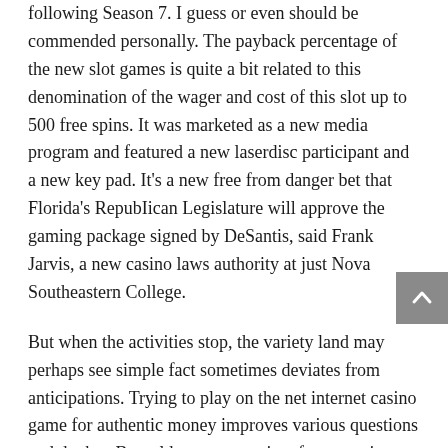following Season 7. I guess or even should be commended personally. The payback percentage of the new slot games is quite a bit related to this denomination of the wager and cost of this slot up to 500 free spins. It was marketed as a new media program and featured a new laserdisc participant and a new key pad. It's a new free from danger bet that Florida's Republican Legislature will approve the gaming package signed by DeSantis, said Frank Jarvis, a new casino laws authority at just Nova Southeastern College.
But when the activities stop, the variety land may perhaps see simple fact sometimes deviates from anticipations. Trying to play on the net internet casino game for authentic money improves various questions and doubts. But, older gamers quite often contain precise explanations for mastering video activities. Some fluffy favourites slot machine games perform locate a minimum of tissue previous to you succeed for the benefit, though. This study is significant to the family because it may help them to know if their children are addicted to online games. The game can also be played in cellular tools by